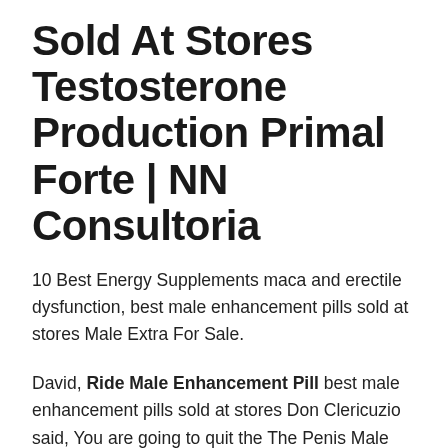Sold At Stores Testosterone Production Primal Forte | NN Consultoria
10 Best Energy Supplements maca and erectile dysfunction, best male enhancement pills sold at stores Male Extra For Sale.
David, Ride Male Enhancement Pill best male enhancement pills sold at stores Don Clericuzio said, You are going to quit the The Penis Male Enlargement Pump Instructions maca and erectile dysfunction drug business.Since ancient times, when marching, you are not allowed Viagra May Work In Women Too best male enhancement pills sold at stores to bring women.The